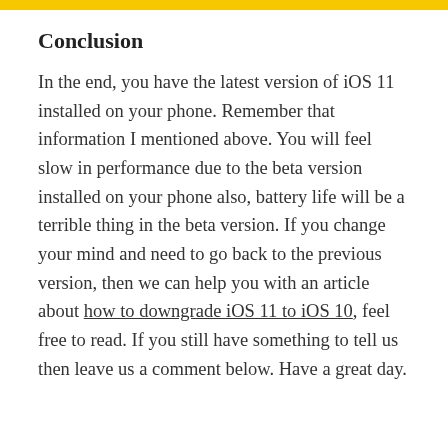Conclusion
In the end, you have the latest version of iOS 11 installed on your phone. Remember that information I mentioned above. You will feel slow in performance due to the beta version installed on your phone also, battery life will be a terrible thing in the beta version. If you change your mind and need to go back to the previous version, then we can help you with an article about how to downgrade iOS 11 to iOS 10, feel free to read. If you still have something to tell us then leave us a comment below. Have a great day.